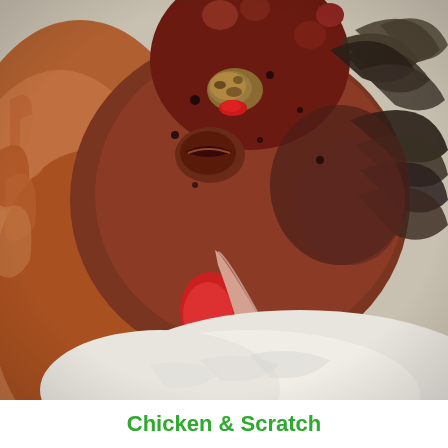[Figure (photo): Close-up photograph of a chicken's head showing lesions and scabs on the face, comb, and around the eyes and beak, consistent with fowl pox or similar disease. The bird has reddish-brown feathers and a pale pinkish beak, and is resting on a white surface.]
Chicken & Scratch